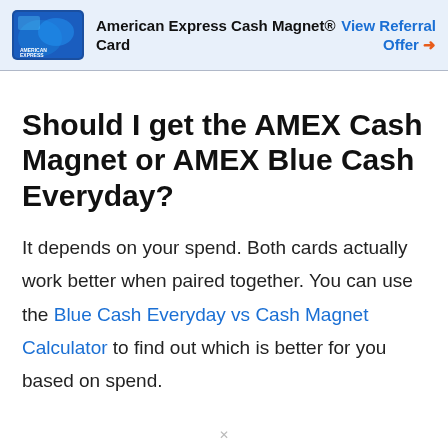American Express Cash Magnet® Card | View Referral Offer →
Should I get the AMEX Cash Magnet or AMEX Blue Cash Everyday?
It depends on your spend. Both cards actually work better when paired together. You can use the Blue Cash Everyday vs Cash Magnet Calculator to find out which is better for you based on spend.